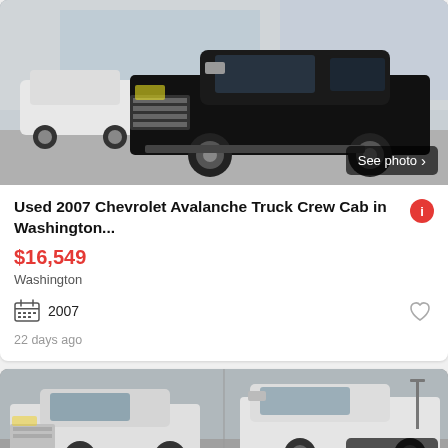[Figure (photo): Black Chevrolet Avalanche truck parked at a dealership lot, front 3/4 view. White SUV visible in background. 'See photo' button overlaid bottom-right.]
Used 2007 Chevrolet Avalanche Truck Crew Cab in Washington...
$16,549
Washington
2007
22 days ago
[Figure (photo): Two white pickup trucks at a dealership lot, partially visible. 'See photo' button overlaid bottom-right.]